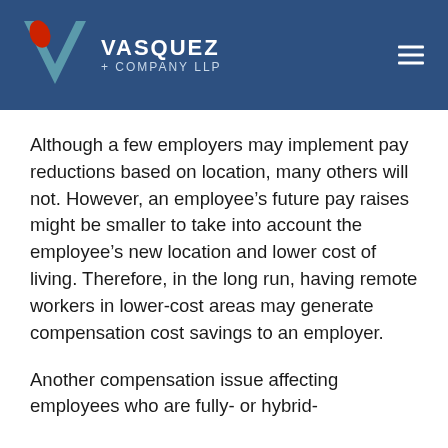VASQUEZ + COMPANY LLP
Although a few employers may implement pay reductions based on location, many others will not. However, an employee’s future pay raises might be smaller to take into account the employee’s new location and lower cost of living. Therefore, in the long run, having remote workers in lower-cost areas may generate compensation cost savings to an employer.
Another compensation issue affecting employees who are fully- or hybrid-